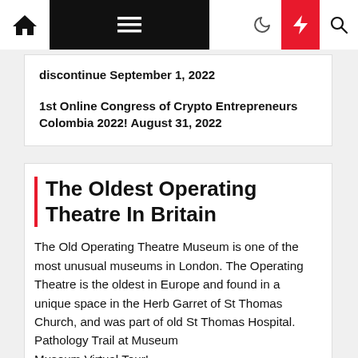Navigation bar with home, menu, moon, lightning, and search icons
discontinue September 1, 2022
1st Online Congress of Crypto Entrepreneurs Colombia 2022! August 31, 2022
The Oldest Operating Theatre In Britain
The Old Operating Theatre Museum is one of the most unusual museums in London. The Operating Theatre is the oldest in Europe and found in a unique space in the Herb Garret of St Thomas Church, and was part of old St Thomas Hospital.
Pathology Trail at Museum
Museum Virtual Tour!
Watch our promotional video